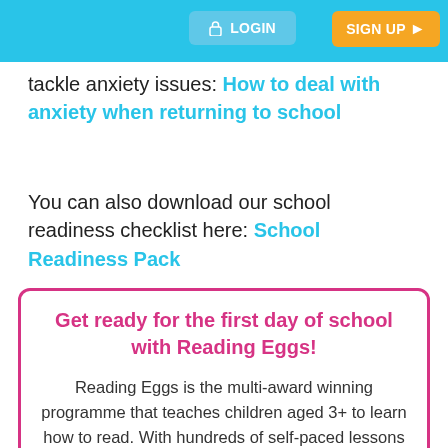LOGIN  SIGN UP
tackle anxiety issues: How to deal with anxiety when returning to school
You can also download our school readiness checklist here: School Readiness Pack
Get ready for the first day of school with Reading Eggs! Reading Eggs is the multi-award winning programme that teaches children aged 3+ to learn how to read. With hundreds of self-paced lessons and exciting games, Reading Eggs is a highly interactive and fun way to prepare your child not only for their first day of school but for years to